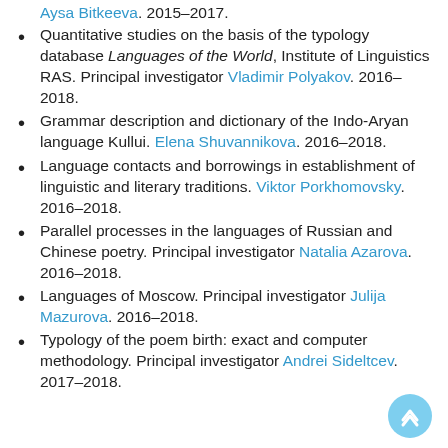Aysa Bitkeeva. 2015–2017.
Quantitative studies on the basis of the typology database Languages of the World, Institute of Linguistics RAS. Principal investigator Vladimir Polyakov. 2016–2018.
Grammar description and dictionary of the Indo-Aryan language Kullui. Elena Shuvannikova. 2016–2018.
Language contacts and borrowings in establishment of linguistic and literary traditions. Viktor Porkhomovsky. 2016–2018.
Parallel processes in the languages of Russian and Chinese poetry. Principal investigator Natalia Azarova. 2016–2018.
Languages of Moscow. Principal investigator Julija Mazurova. 2016–2018.
Typology of the poem birth: exact and computer methodology. Principal investigator Andrei Sideltcev. 2017–2018.